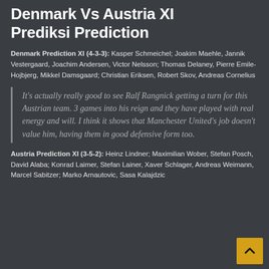Denmark Vs Austria XI Prediksi Prediction
Denmark Prediction XI (4-3-3): Kasper Schmeichel; Joakim Maehle, Jannik Vestergaard, Joachim Andersen, Victor Nelsson; Thomas Delaney, Pierre Emile-Hojbjerg, Mikkel Damsgaard; Christian Eriksen, Robert Skov, Andreas Cornelius
It's actually really good to see Ralf Rangnick getting a turn for this Austrian team. 3 games into his reign and they have played with real energy and will. I think it shows that Manchester United's job doesn't value him, having them in good defensive form too.
Austria Prediction XI (3-5-2): Heinz Lindner; Maximilian Wober, Stefan Posch, David Alaba; Konrad Laimer, Stefan Lainer, Xaver Schlager, Andreas Weimann, Marcel Sabitzer; Marko Arnautovic, Sasa Kalajdzic